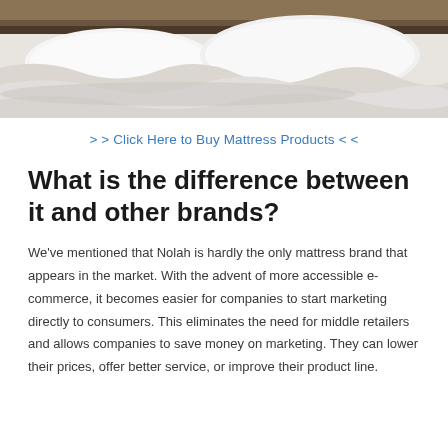[Figure (photo): Photo of a bed with white pillows and rumpled white sheets, with a dark headboard visible in the background.]
> > Click Here to Buy Mattress Products < <
What is the difference between it and other brands?
We've mentioned that Nolah is hardly the only mattress brand that appears in the market. With the advent of more accessible e-commerce, it becomes easier for companies to start marketing directly to consumers. This eliminates the need for middle retailers and allows companies to save money on marketing. They can lower their prices, offer better service, or improve their product line.
However, Nolah sets themselves apart as one of the mattress brands claiming...